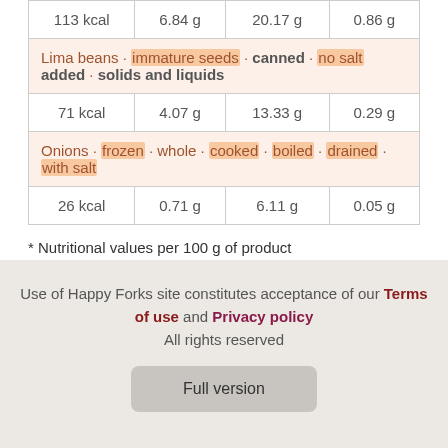| 113 kcal | 6.84 g | 20.17 g | 0.86 g |
| Lima beans · immature seeds · canned · no salt added · solids and liquids |
| 71 kcal | 4.07 g | 13.33 g | 0.29 g |
| Onions · frozen · whole · cooked · boiled · drained · with salt |
| 26 kcal | 0.71 g | 6.11 g | 0.05 g |
* Nutritional values per 100 g of product
Use of Happy Forks site constitutes acceptance of our Terms of use and Privacy policy All rights reserved